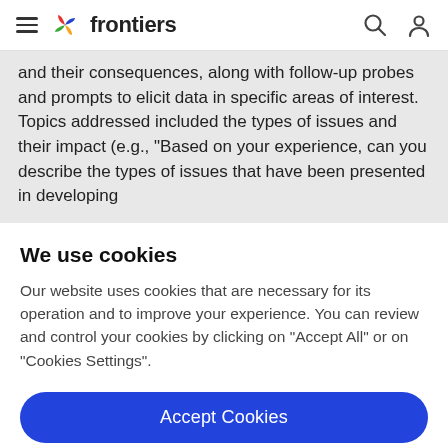frontiers
and their consequences, along with follow-up probes and prompts to elicit data in specific areas of interest. Topics addressed included the types of issues and their impact (e.g., "Based on your experience, can you describe the types of issues that have been presented in developing
We use cookies
Our website uses cookies that are necessary for its operation and to improve your experience. You can review and control your cookies by clicking on "Accept All" or on "Cookies Settings".
Accept Cookies
Cookies Settings